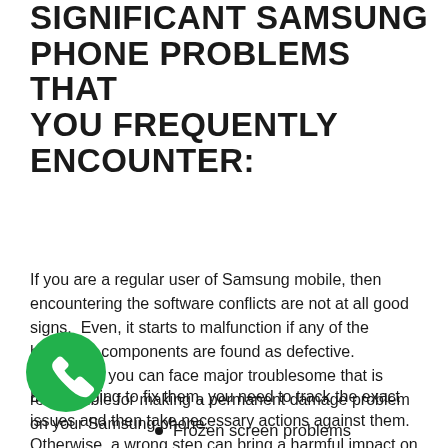SIGNIFICANT SAMSUNG PHONE PROBLEMS THAT YOU FREQUENTLY ENCOUNTER:
If you are a regular user of Samsung mobile, then encountering the software conflicts are not at all good signs.  Even, it starts to malfunction if any of the hardware components are found as defective. Therefore, you can face major troublesome that is responsible for making a permanent damage problem on your Samsung phone.
Before going to fix them, you need to track the exact issues and then take necessary actions against them. Otherwise, a wrong step can bring a harmful impact on your device and therefore, it is the wisest way to consult with professionals of Samsung Mobile Repair Dubai. Therefore, let's have a look at below and identify the all mobile issues efficiently.
[Figure (illustration): Green circular phone/call icon with white telephone handset symbol]
Frozen screen problems